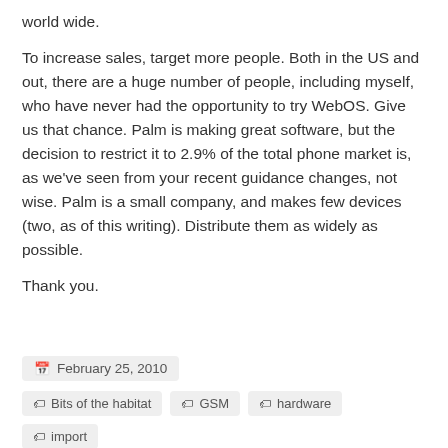world wide.
To increase sales, target more people. Both in the US and out, there are a huge number of people, including myself, who have never had the opportunity to try WebOS. Give us that chance. Palm is making great software, but the decision to restrict it to 2.9% of the total phone market is, as we've seen from your recent guidance changes, not wise. Palm is a small company, and makes few devices (two, as of this writing). Distribute them as widely as possible.
Thank you.
February 25, 2010
Bits of the habitat  GSM  hardware  import